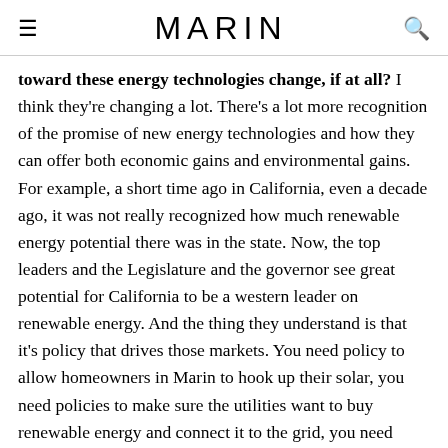MARIN
toward these energy technologies change, if at all? I think they're changing a lot. There's a lot more recognition of the promise of new energy technologies and how they can offer both economic gains and environmental gains. For example, a short time ago in California, even a decade ago, it was not really recognized how much renewable energy potential there was in the state. Now, the top leaders and the Legislature and the governor see great potential for California to be a western leader on renewable energy. And the thing they understand is that it's policy that drives those markets. You need policy to allow homeowners in Marin to hook up their solar, you need policies to make sure the utilities want to buy renewable energy and connect it to the grid, you need policies to make sure that renewables are sited in the right place. So what we're seeing is recognition on the part of states and many state leaders of how important it is to work on policy if they want to grow those